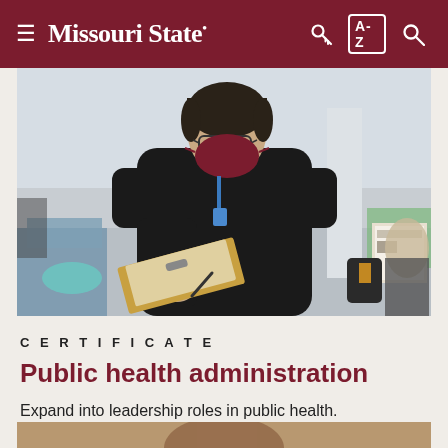Missouri State
[Figure (photo): A student wearing a dark jacket and maroon face mask writes on a clipboard in what appears to be a library or study space with pod-style seating in the background.]
CERTIFICATE
Public health administration
Expand into leadership roles in public health.
[Figure (photo): Partial view of a second photo at the bottom of the page, showing a warm-toned scene (partially cropped).]